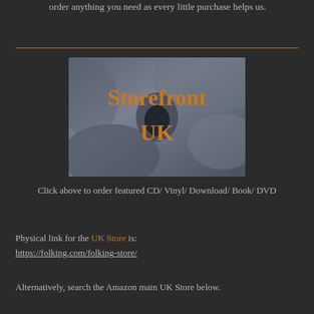order anything you need as every little purchase helps us.
[Figure (illustration): Storefront UK banner image showing stone texture background with orange text reading 'Storefront UK']
Click above to order featured CD/ Vinyl/ Download/ Book/ DVD
Physical link for the UK Store is: https://folking.com/folking-store/
Alternatively, search the Amazon main UK Store below.